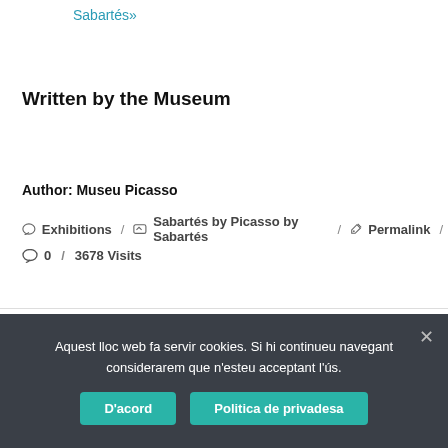Sabartés»
Written by the Museum
Author: Museu Picasso
Exhibitions / Sabartés by Picasso by Sabartés / Permalink /
0 / 3678 Visits
Aquest lloc web fa servir cookies. Si hi continueu navegant considerarem que n'esteu acceptant l'ús.